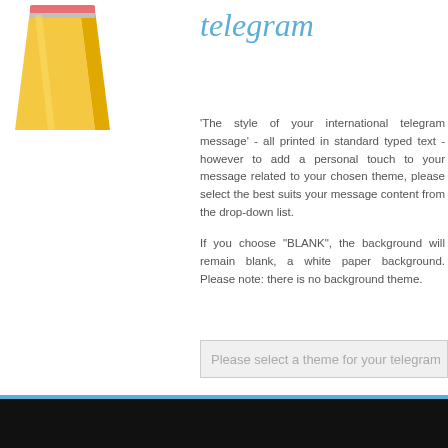[Figure (illustration): Yellow pencil illustration in top-left corner]
telegram
'The style of your international telegram message' - all printed in standard typed text - however to add a personal touch to your message related to your chosen theme, please select the best suits your message content from the drop-down list.
If you choose "BLANK", the background will remain blank, a white paper background. Please note: there is no background theme.
Please select a theme for your telegram
Home   Send Telegram   About Us   Cities   Global Dates   Contact Us   Privacy Policy   Terms and Conditions   1991